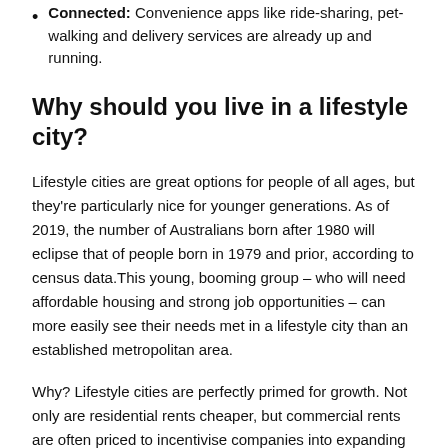Connected: Convenience apps like ride-sharing, pet-walking and delivery services are already up and running.
Why should you live in a lifestyle city?
Lifestyle cities are great options for people of all ages, but they're particularly nice for younger generations. As of 2019, the number of Australians born after 1980 will eclipse that of people born in 1979 and prior, according to census data.This young, booming group – who will need affordable housing and strong job opportunities – can more easily see their needs met in a lifestyle city than an established metropolitan area.
Why? Lifestyle cities are perfectly primed for growth. Not only are residential rents cheaper, but commercial rents are often priced to incentivise companies into expanding their businesses into these locations. Instead of delaying major purchases like homes, cars, and childcare, young families find lucrative jobs and get started